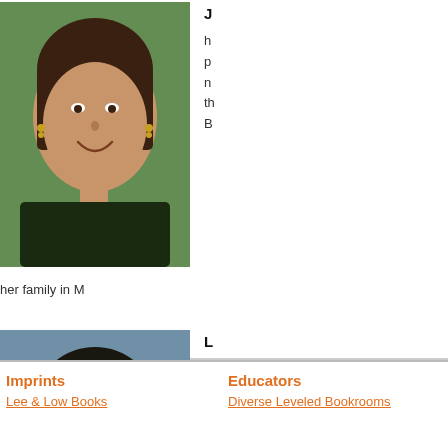[Figure (photo): Headshot of a woman with brown hair, smiling, wearing earrings, in an outdoor setting]
J... (name truncated)
h...
p...
n...
th...
B...
her family in ...
[Figure (photo): Headshot of a man with dark hair, against a blue-gray background, wearing a light blue shirt]
L... (name truncated)
h...
M...
H...
o...
e...
two sons on t...
Imprints
Educators
Lee & Low Books
Diverse Leveled Bookrooms